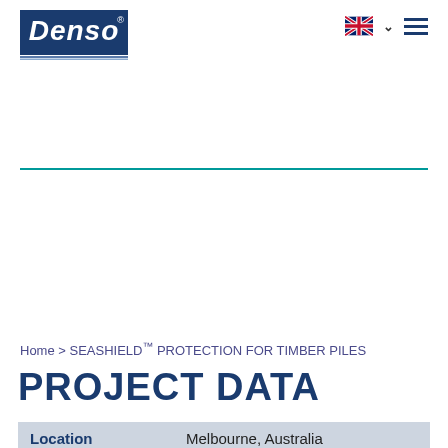Denso logo and navigation
Home > SEASHIELD™ PROTECTION FOR TIMBER PILES
PROJECT DATA
| Location |  |
| --- | --- |
| Location | Melbourne, Australia |